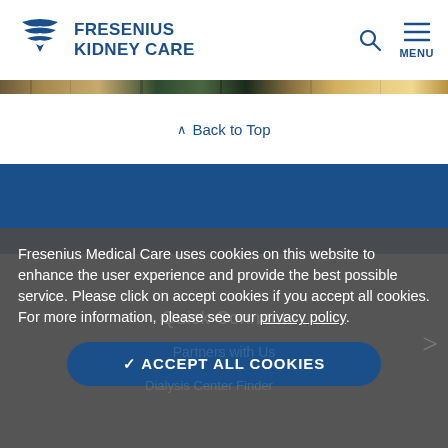FRESENIUS KIDNEY CARE
[Figure (photo): Thin horizontal banner strip showing a landscape/nature photo strip]
^ Back to Top
[Figure (other): Dark blue footer section background]
Fresenius Medical Care uses cookies on this website to enhance the user experience and provide the best possible service. Please click on accept cookies if you accept all cookies. For more information, please see our privacy policy.
✓ ACCEPT ALL COOKIES